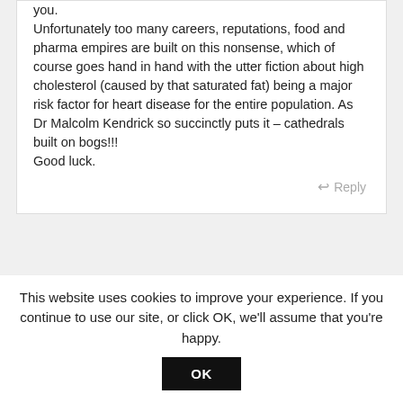you.
Unfortunately too many careers, reputations, food and pharma empires are built on this nonsense, which of course goes hand in hand with the utter fiction about high cholesterol (caused by that saturated fat) being a major risk factor for heart disease for the entire population. As Dr Malcolm Kendrick so succinctly puts it – cathedrals built on bogs!!!
Good luck.
Reply
This website uses cookies to improve your experience. If you continue to use our site, or click OK, we'll assume that you're happy.